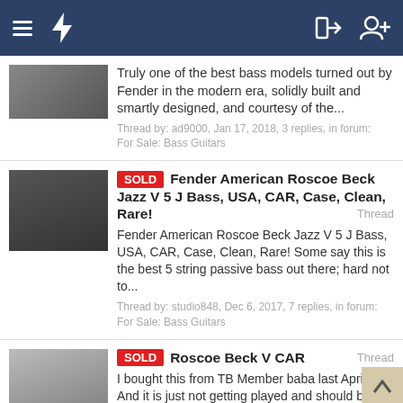Navigation bar with hamburger menu, lightning icon, login and user-add icons
Truly one of the best bass models turned out by Fender in the modern era, solidly built and smartly designed, and courtesy of the...
Thread by: ad9000, Jan 17, 2018, 3 replies, in forum: For Sale: Bass Guitars
SOLD Fender American Roscoe Beck Jazz V 5 J Bass, USA, CAR, Case, Clean, Rare! Thread
Fender American Roscoe Beck Jazz V 5 J Bass, USA, CAR, Case, Clean, Rare! Some say this is the best 5 string passive bass out there; hard not to...
Thread by: studio848, Dec 6, 2017, 7 replies, in forum: For Sale: Bass Guitars
SOLD Roscoe Beck V CAR Thread
I bought this from TB Member baba last April, And it is just not getting played and should be. It is in the exact same condition as when I bought...
Thread by: Nighttrain1127, Dec 5, 2017, 10 replies, in forum: For Sale: Bass Guitars